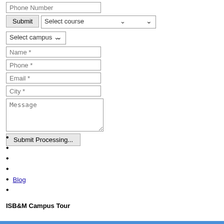[Figure (screenshot): Web form with input fields: Phone Number text input, Submit button, Select course dropdown, Select campus dropdown, Name* input, Phone* input, Email* input, City* input, Message textarea, and Submit Processing... button]
Blog
ISB&M Campus Tour